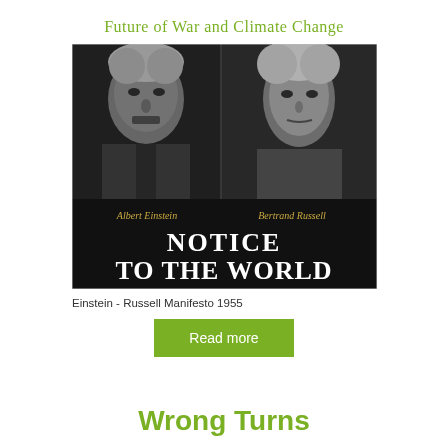Future of War and Climate Change
[Figure (photo): Book cover of 'Notice to the World' by Albert Einstein and Bertrand Russell, featuring black and white photographs of the two men side by side, with their names in gold italic script and the title in large white bold text on a dark background.]
Einstein - Russell Manifesto 1955
Read more
Wrong Turns